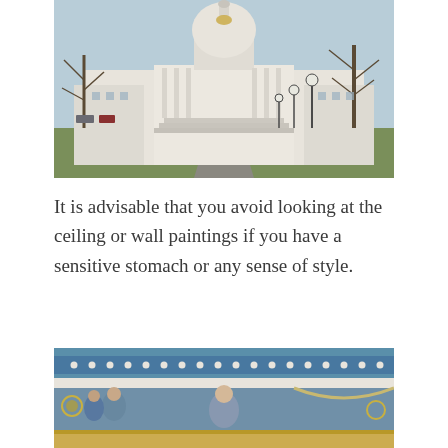[Figure (photo): Exterior view of a grand classical capitol building with a large dome, wide steps leading to the entrance, bare winter trees, and lamp posts along a walkway leading up to the building.]
It is advisable that you avoid looking at the ceiling or wall paintings if you have a sensitive stomach or any sense of style.
[Figure (photo): Interior view of a capitol building dome ceiling showing ornate blue and gold decorative borders, arched architectural details, and elaborate painted murals with figures.]